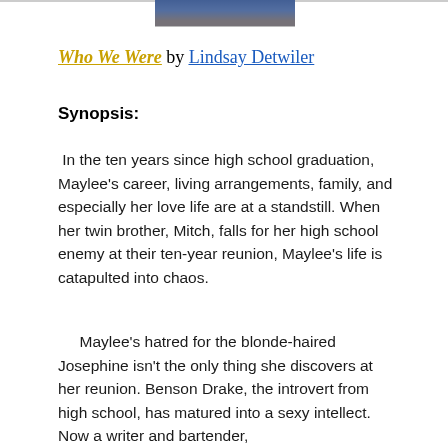[Figure (photo): Partial photo strip at the top of the page showing a person, cropped]
Who We Were by Lindsay Detwiler
Synopsis:
In the ten years since high school graduation, Maylee's career, living arrangements, family, and especially her love life are at a standstill. When her twin brother, Mitch, falls for her high school enemy at their ten-year reunion, Maylee's life is catapulted into chaos.
Maylee's hatred for the blonde-haired Josephine isn't the only thing she discovers at her reunion. Benson Drake, the introvert from high school, has matured into a sexy intellect. Now a writer and bartender,